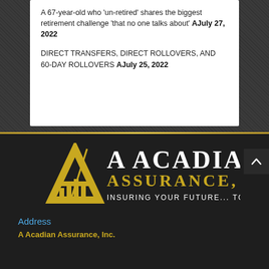A 67-year-old who 'un-retired' shares the biggest retirement challenge 'that no one talks about' AJuly 27, 2022
DIRECT TRANSFERS, DIRECT ROLLOVERS, AND 60-DAY ROLLOVERS AJuly 25, 2022
[Figure (logo): A Acadian Assurance, Inc. logo — gold letter A with bar chart icon, white text 'A ACADIAN ASSURANCE, INC' and tagline 'Insuring Your Future... Today!']
Address
A Acadian Assurance, Inc.